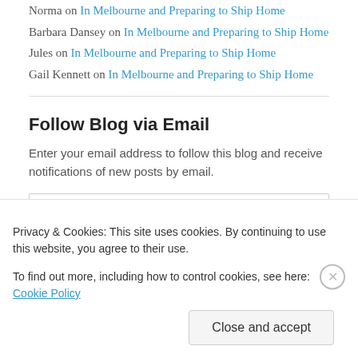Norma on In Melbourne and Preparing to Ship Home
Barbara Dansey on In Melbourne and Preparing to Ship Home
Jules on In Melbourne and Preparing to Ship Home
Gail Kennett on In Melbourne and Preparing to Ship Home
Follow Blog via Email
Enter your email address to follow this blog and receive notifications of new posts by email.
Privacy & Cookies: This site uses cookies. By continuing to use this website, you agree to their use. To find out more, including how to control cookies, see here: Cookie Policy